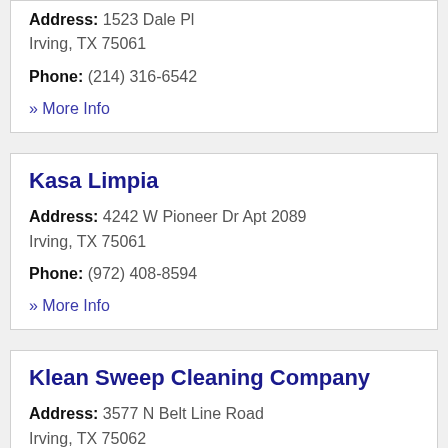Address: 1523 Dale Pl
Irving, TX 75061

Phone: (214) 316-6542

» More Info
Kasa Limpia
Address: 4242 W Pioneer Dr Apt 2089
Irving, TX 75061

Phone: (972) 408-8594

» More Info
Klean Sweep Cleaning Company
Address: 3577 N Belt Line Road
Irving, TX 75062